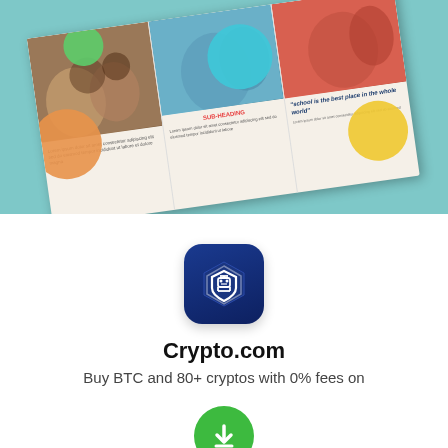[Figure (photo): A trifold brochure or newsletter displayed on a teal/blue-green background. The brochure shows children reading and studying. It has colorful circle accents in orange, teal, green, and yellow. Text on the brochure includes a sub-heading in red and a quote in dark blue.]
[Figure (logo): Crypto.com app icon — a dark navy blue rounded-square background with a white hexagonal shield containing a robot/helmet face logo in white.]
Crypto.com
Buy BTC and 80+ cryptos with 0% fees on
[Figure (illustration): Green circular download button icon with a white downward-pointing arrow.]